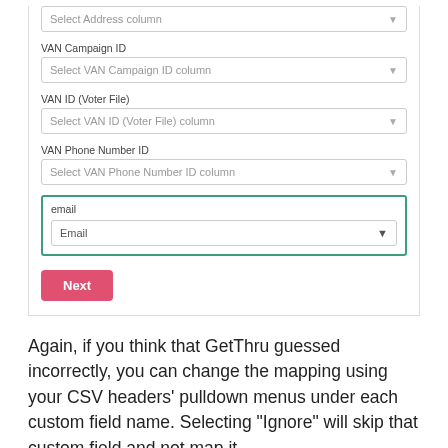[Figure (screenshot): Form panel with dropdown fields: VAN Campaign ID, VAN ID (Voter File), VAN Phone Number ID, and email (highlighted with green border showing 'Email' selected), plus a Next button]
Again, if you think that GetThru guessed incorrectly, you can change the mapping using your CSV headers' pulldown menus under each custom field name. Selecting "Ignore" will skip that custom field and not map it.
Choose Custom Fields
Your custom fields will automatically map for you if keywords match, or you can map manually.